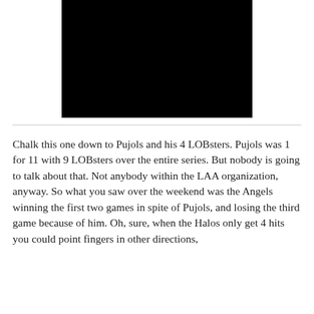[Figure (photo): A solid black rectangle representing a photo or video placeholder]
Chalk this one down to Pujols and his 4 LOBsters. Pujols was 1 for 11 with 9 LOBsters over the entire series. But nobody is going to talk about that. Not anybody within the LAA organization, anyway. So what you saw over the weekend was the Angels winning the first two games in spite of Pujols, and losing the third game because of him. Oh, sure, when the Halos only get 4 hits you could point fingers in other directions,